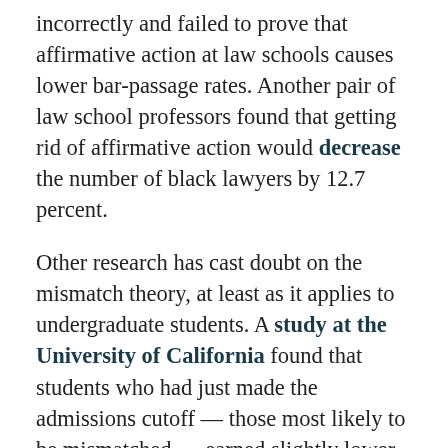incorrectly and failed to prove that affirmative action at law schools causes lower bar-passage rates. Another pair of law school professors found that getting rid of affirmative action would decrease the number of black lawyers by 12.7 percent.
Other research has cast doubt on the mismatch theory, at least as it applies to undergraduate students. A study at the University of California found that students who had just made the admissions cutoff — those most likely to be mismatched — earned slightly lower grades than other students, but the difference disappeared when they were compared only to students with a similar educational background. While California doesn't have affirmative action, the study suggests that students with lower grades and test scores still